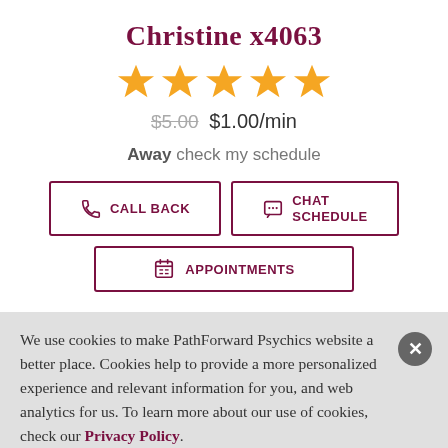Christine x4063
[Figure (illustration): Five orange star rating icons in a row]
$5.00 $1.00/min
Away check my schedule
[Figure (infographic): Three action buttons: CALL BACK, CHAT SCHEDULE, APPOINTMENTS, each with icon and maroon border]
We use cookies to make PathForward Psychics website a better place. Cookies help to provide a more personalized experience and relevant information for you, and web analytics for us. To learn more about our use of cookies, check our Privacy Policy.